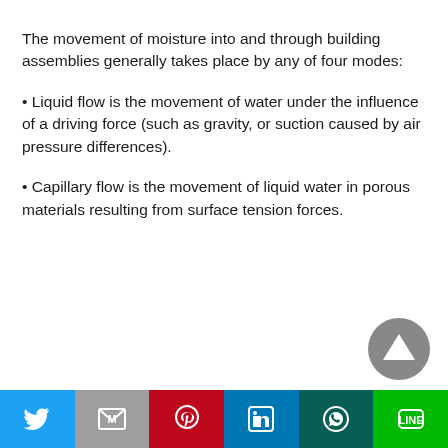The movement of moisture into and through building assemblies generally takes place by any of four modes:
• Liquid flow is the movement of water under the influence of a driving force (such as gravity, or suction caused by air pressure differences).
• Capillary flow is the movement of liquid water in porous materials resulting from surface tension forces.